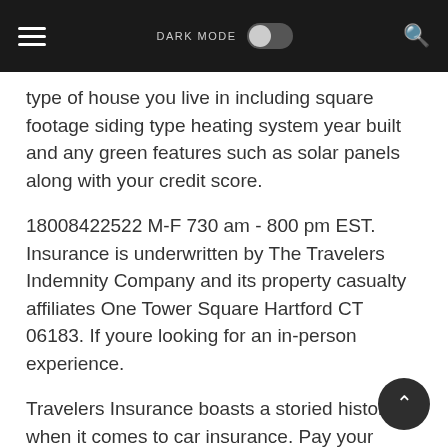DARK MODE [toggle] [search]
type of house you live in including square footage siding type heating system year built and any green features such as solar panels along with your credit score.
18008422522 M-F 730 am - 800 pm EST. Insurance is underwritten by The Travelers Indemnity Company and its property casualty affiliates One Tower Square Hartford CT 06183. If youre looking for an in-person experience.
Travelers Insurance boasts a storied history when it comes to car insurance. Pay your Travelers Insurance bill online. Policies are sold for single trips or defined time-frames typically one year with the option to renew indefinitely.
These plans cover the same issues as a.